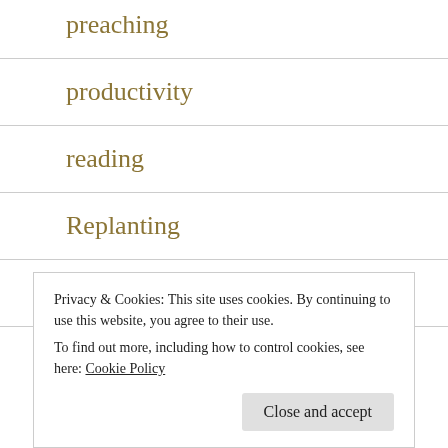preaching
productivity
reading
Replanting
Small Groups
S…
Privacy & Cookies: This site uses cookies. By continuing to use this website, you agree to their use.
To find out more, including how to control cookies, see here: Cookie Policy
Close and accept